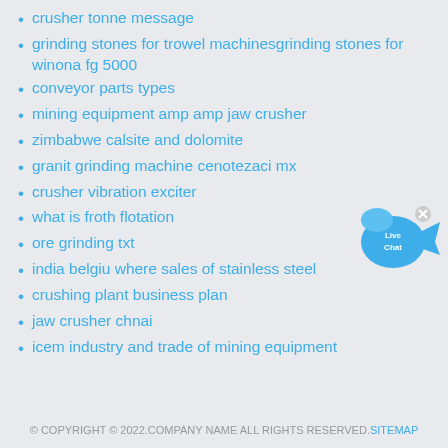crusher tonne message
grinding stones for trowel machinesgrinding stones for winona fg 5000
conveyor parts types
mining equipment amp amp jaw crusher
zimbabwe calsite and dolomite
granit grinding machine cenotezaci mx
crusher vibration exciter
what is froth flotation
ore grinding txt
india belgiu where sales of stainless steel
crushing plant business plan
jaw crusher chnai
icem industry and trade of mining equipment
[Figure (illustration): Live Chat button - blue speech bubble with fish shape and 'Live Chat' text, with an X close button]
© COPYRIGHT © 2022.COMPANY NAME ALL RIGHTS RESERVED. SITEMAP